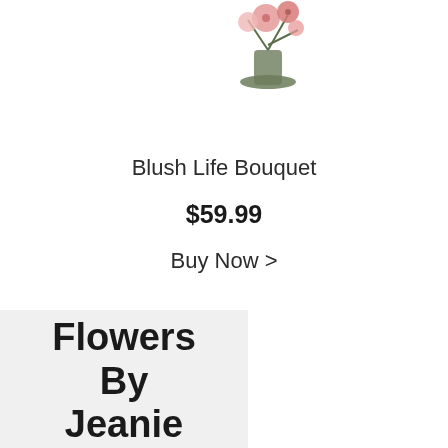[Figure (photo): A floral bouquet in a vase, partially cropped at the top of the page]
Blush Life Bouquet
$59.99
Buy Now >
Flowers By Jeanie
341 W.
Martin
Luther